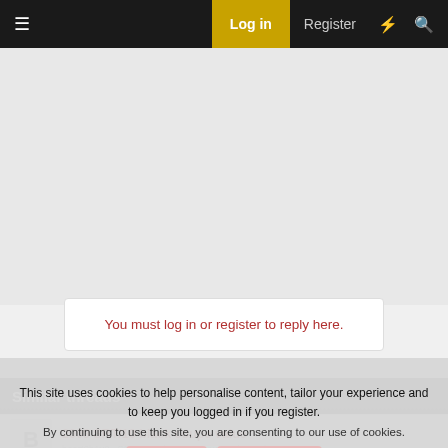≡  Log in  Register  ⚡  🔍
[Figure (other): Gray advertisement placeholder area]
You must log in or register to reply here.
Similar threads
2008 SRT/10 black coupe value
beart0b1v0 · SRT10 and SRT10 Coupe Discussions
This site uses cookies to help personalise content, tailor your experience and to keep you logged in if you register.
By continuing to use this site, you are consenting to our use of cookies.
✓ Accept   Learn more…